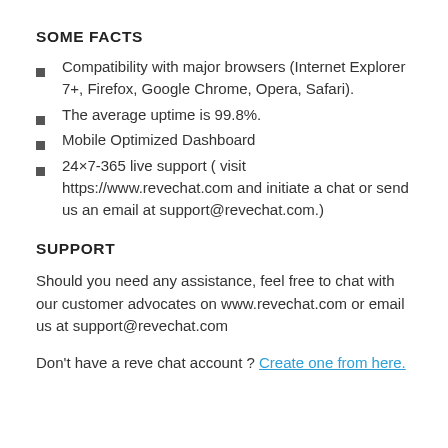SOME FACTS
Compatibility with major browsers (Internet Explorer 7+, Firefox, Google Chrome, Opera, Safari).
The average uptime is 99.8%.
Mobile Optimized Dashboard
24×7-365 live support ( visit https://www.revechat.com and initiate a chat or send us an email at support@revechat.com.)
SUPPORT
Should you need any assistance, feel free to chat with our customer advocates on www.revechat.com or email us at support@revechat.com
Don't have a reve chat account ? Create one from here.